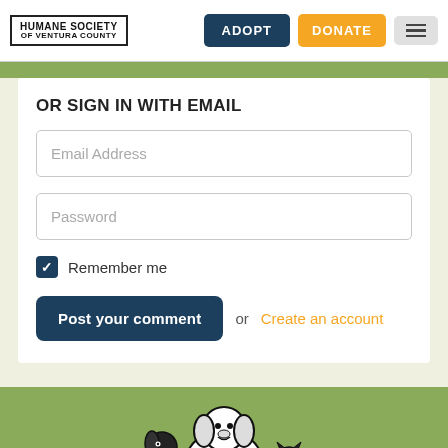HUMANE SOCIETY OF VENTURA COUNTY | ADOPT | DONATE
OR SIGN IN WITH EMAIL
Email Address
Password
Remember me
Post your comment or Create an account
[Figure (illustration): Black and white illustration of dogs and cats grouped together, partial view at bottom of page]